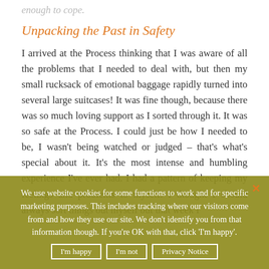enough to cope.
Unpacking the Past in Safety
I arrived at the Process thinking that I was aware of all the problems that I needed to deal with, but then my small rucksack of emotional baggage rapidly turned into several large suitcases! It was fine though, because there was so much loving support as I sorted through it. It was so safe at the Process. I could just be how I needed to be, I wasn't being watched or judged – that's what's special about it. It's the most intense and humbling experience I've ever had. I had a pattern of keeping my feelings and problems to myself. I thought I should always sort things out myself but that week I...
We use website cookies for some functions to work and for specific marketing purposes. This includes tracking where our visitors come from and how they use our site. We don't identify you from that information though. If you're OK with that, click 'I'm happy'.
I'm happy   I'm not   Privacy Notice